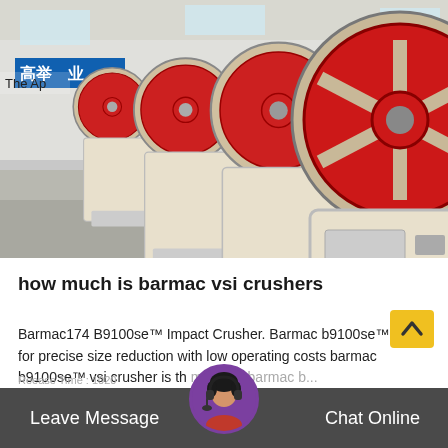[Figure (photo): Row of industrial jaw crushers in a factory warehouse. Machines are cream/white colored with large red flywheels. Chinese text banners visible on the back wall.]
how much is barmac vsi crushers
Barmac174 B9100se™ Impact Crusher. Barmac b9100se™ for precise size reduction with low operating costs barmac b9100se™ vsi crusher is th model in barmac b...
Reease Time : 1020
Leave Message   Chat Online